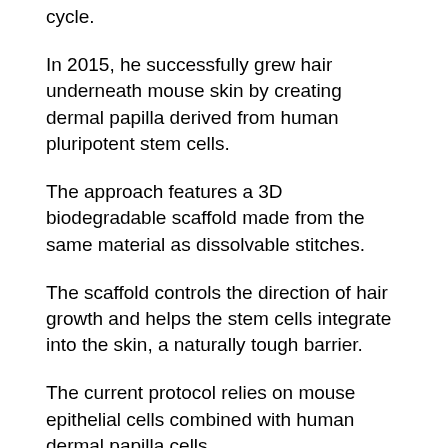cycle.
In 2015, he successfully grew hair underneath mouse skin by creating dermal papilla derived from human pluripotent stem cells.
The approach features a 3D biodegradable scaffold made from the same material as dissolvable stitches.
The scaffold controls the direction of hair growth and helps the stem cells integrate into the skin, a naturally tough barrier.
The current protocol relies on mouse epithelial cells combined with human dermal papilla cells.
The experiments were conducted in immunodeficient nude mice, which lack body hair.